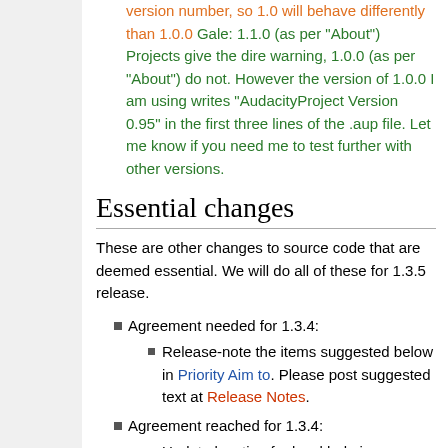version number, so 1.0 will behave differently than 1.0.0 Gale: 1.1.0 (as per "About") Projects give the dire warning, 1.0.0 (as per "About") do not. However the version of 1.0.0 I am using writes "AudacityProject Version 0.95" in the first three lines of the .aup file. Let me know if you need me to test further with other versions.
Essential changes
These are other changes to source code that are deemed essential. We will do all of these for 1.3.5 release.
Agreement needed for 1.3.4:
Release-note the items suggested below in Priority Aim to. Please post suggested text at Release Notes.
Agreement reached for 1.3.4:
Update location for local help in Filenames.cpp to /Data_directory/Help/.